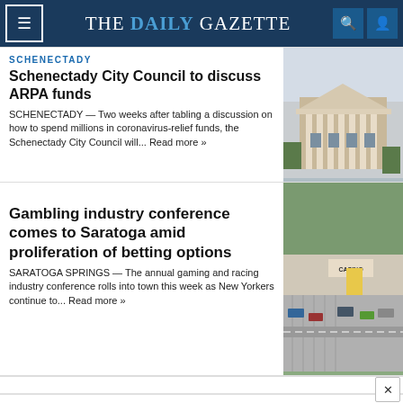THE DAILY GAZETTE
SCHENECTADY
Schenectady City Council to discuss ARPA funds
SCHENECTADY — Two weeks after tabling a discussion on how to spend millions in coronavirus-relief funds, the Schenectady City Council will... Read more »
[Figure (photo): Photo of a government/civic building with columns]
Gambling industry conference comes to Saratoga amid proliferation of betting options
SARATOGA SPRINGS — The annual gaming and racing industry conference rolls into town this week as New Yorkers continue to... Read more »
[Figure (photo): Aerial photo of a casino/commercial area]
Easy On-The-Go Options For You
McAlister's Deli